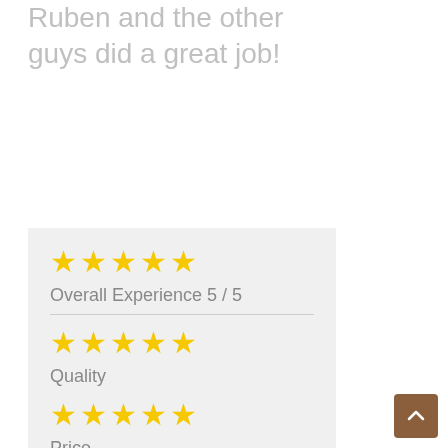Ruben and the other guys did a great job!
[Figure (infographic): Star rating section showing Overall Experience 5/5, Quality 5/5, Price 5/5, and a partially visible label below]
Overall Experience 5 / 5
Quality
Price
[Figure (other): Brown scroll-to-top button with upward chevron arrow in bottom right corner]